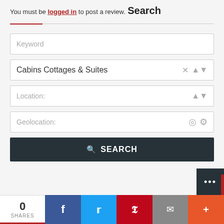You must be logged in to post a review.
Search
[Figure (screenshot): Search form with Keyword text input, Cabins Cottages & Suites category dropdown, Location dropdown, Geolocation field, and a dark Search button]
0 SHARES | Facebook | Twitter | Pinterest | Email | More